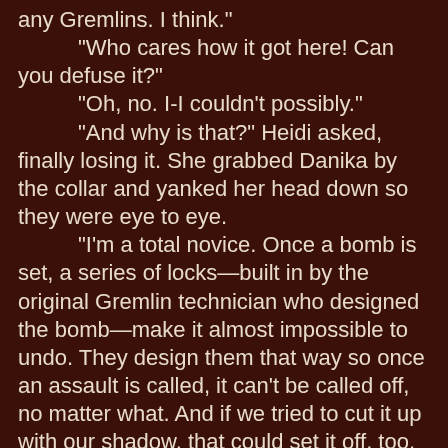any Gremlins. I think."
	"Who cares how it got here! Can you defuse it?"
	"Oh, no. I-I couldn't possibly."
	"And why is that?" Heidi asked, finally losing it. She grabbed Danika by the collar and yanked her head down so they were eye to eye.
	"I'm a total novice. Once a bomb is set, a series of locks—built in by the original Gremlin technician who designed the bomb—make it almost impossible to undo. They design them that way so once an assault is called, it can't be called off, no matter what. And if we tried to cut it up with our shadow, that could set it off, too. We're… we're all gonna die!"
	"Hey! Shh," Heidi said, eyeing the crowd who thankfully hadn't heard.
	"And it's all my fault. I just wanted to see an explosion, but now it's gonna go off and it'll hit everyone in the city and we'll be black and white and